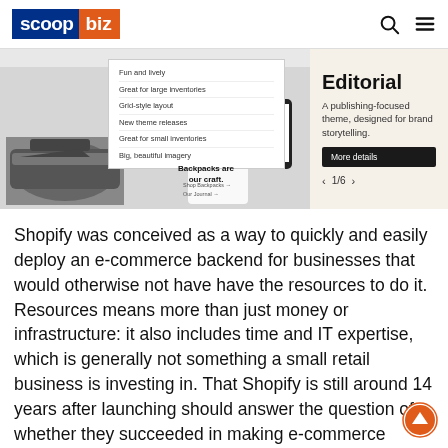[Figure (logo): Scoop.biz logo — 'scoop' in white on dark blue background, 'biz' in white on orange background]
[Figure (screenshot): Screenshot of a Shopify theme selection interface showing 'Adventure Backpack' theme with a dropdown menu listing: Fun and lively, Great for large inventories, Grid-style layout, New theme releases, Great for small inventories, Big, beautiful imagery. Right panel shows 'Editorial' theme described as 'A publishing-focused theme, designed for brand storytelling.' with a 'More details' button and pagination '< 1/6 >']
Shopify was conceived as a way to quickly and easily deploy an e-commerce backend for businesses that would otherwise not have have the resources to do it. Resources means more than just money or infrastructure: it also includes time and IT expertise, which is generally not something a small retail business is investing in. That Shopify is still around 14 years after launching should answer the question of whether they succeeded in making e-commerce feasible for the little guy